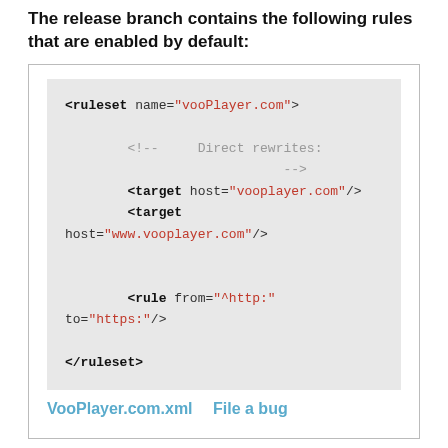The release branch contains the following rules that are enabled by default:
[Figure (screenshot): Code block showing XML ruleset for VooPlayer.com with target hosts and a rule for http to https redirect, with links VooPlayer.com.xml and File a bug]
The HTTPS Everywhere developers welcome corrections and updates to rules. Please see our developer information and documentation of the ruleset format. If filing a bug in the Tor Project's Trac bug tracker, you can use the